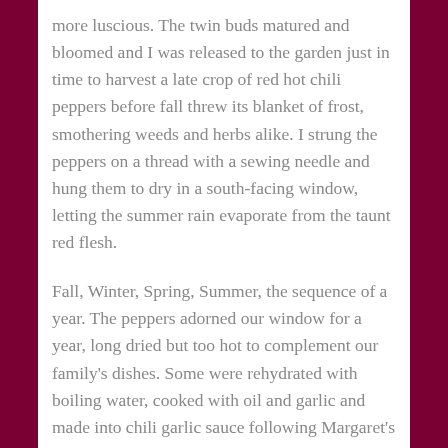more luscious. The twin buds matured and bloomed and I was released to the garden just in time to harvest a late crop of red hot chili peppers before fall threw its blanket of frost, smothering weeds and herbs alike. I strung the peppers on a thread with a sewing needle and hung them to dry in a south-facing window, letting the summer rain evaporate from the taunt red flesh.
Fall, Winter, Spring, Summer, the sequence of a year. The peppers adorned our window for a year, long dried but too hot to complement our family's dishes. Some were rehydrated with boiling water, cooked with oil and garlic and made into chili garlic sauce following Margaret's authentic Malaysian recipe. We exhibited the